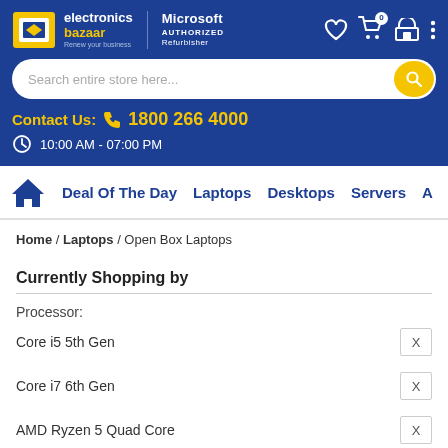[Figure (logo): Electronics Bazaar logo with Microsoft Authorized Refurbisher badge, header icons (heart, cart with badge 0, store, menu)]
Search entire store here...
Contact Us: 1800 266 4000
10:00 AM - 07:00 PM
Deal Of The Day   Laptops   Desktops   Servers   A
Home / Laptops / Open Box Laptops
Currently Shopping by
Processor:
Core i5 5th Gen    X
Core i7 6th Gen    X
AMD Ryzen 5 Quad Core    X